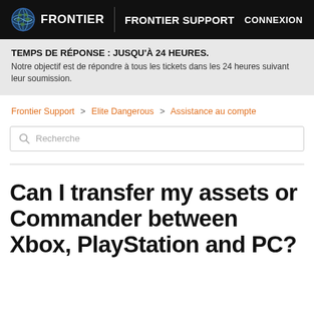FRONTIER | FRONTIER SUPPORT | CONNEXION
TEMPS DE RÉPONSE : JUSQU'À 24 HEURES.
Notre objectif est de répondre à tous les tickets dans les 24 heures suivant leur soumission.
Frontier Support > Elite Dangerous > Assistance au compte
Recherche
Can I transfer my assets or Commander between Xbox, PlayStation and PC?